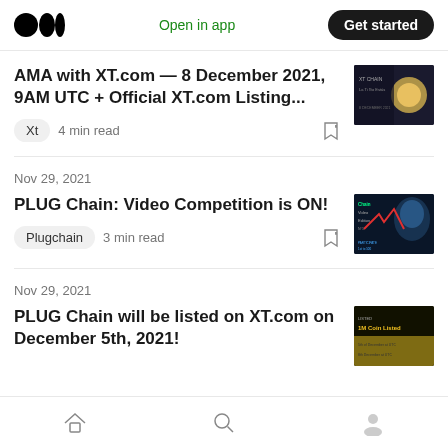Medium logo | Open in app | Get started
AMA with XT.com — 8 December 2021, 9AM UTC + Official XT.com Listing...
Xt  4 min read
Nov 29, 2021
PLUG Chain: Video Competition is ON!
Plugchain  3 min read
Nov 29, 2021
PLUG Chain will be listed on XT.com on December 5th, 2021!
Home | Search | Profile